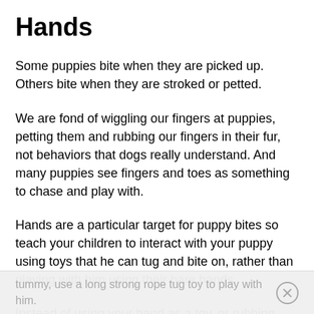Hands
Some puppies bite when they are picked up. Others bite when they are stroked or petted.
We are fond of wiggling our fingers at puppies, petting them and rubbing our fingers in their fur, not behaviors that dogs really understand. And many puppies see fingers and toes as something to chase and play with.
Hands are a particular target for puppy bites so teach your children to interact with your puppy using toys that he can tug and bite on, rather than playing with him using their bare hands.
Instead of using your hand as a toy, or rubbing your puppy's
tummy, use a long strong rope tug toy to play with him.